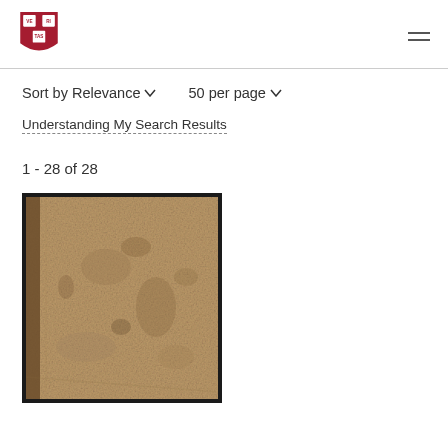Harvard Library – header with logo and navigation menu
Sort by Relevance ∨    50 per page ∨
Understanding My Search Results
1 - 28 of 28
[Figure (photo): Photograph of an old book cover with worn tan/brown leather binding, showing age and texture marks.]